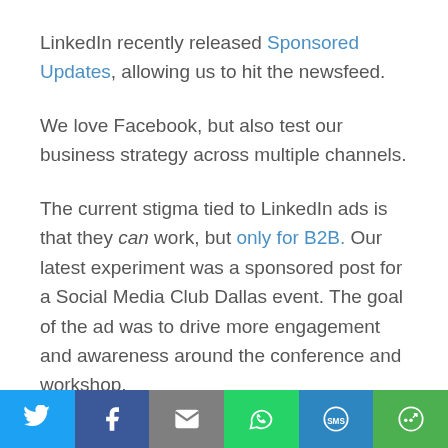LinkedIn recently released Sponsored Updates, allowing us to hit the newsfeed.
We love Facebook, but also test our business strategy across multiple channels.
The current stigma tied to LinkedIn ads is that they can work, but only for B2B. Our latest experiment was a sponsored post for a Social Media Club Dallas event. The goal of the ad was to drive more engagement and awareness around the conference and workshop.
We followed the same $1/Day strategy that has
[Figure (infographic): Social sharing bar with icons for Twitter (blue), Facebook (dark blue), Email (gray), WhatsApp (green), SMS (blue), and More (green)]